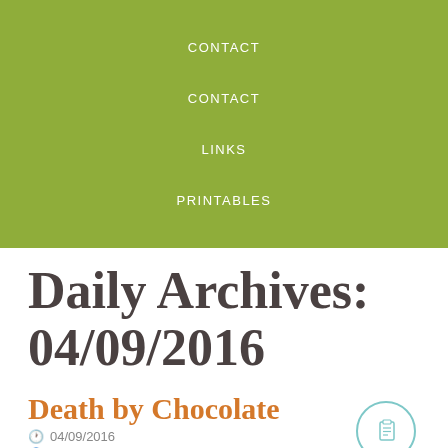CONTACT
CONTACT
LINKS
PRINTABLES
Daily Archives: 04/09/2016
Death by Chocolate
04/09/2016
courtneymk2014